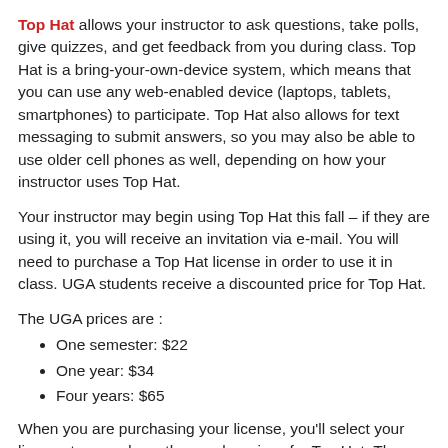Top Hat allows your instructor to ask questions, take polls, give quizzes, and get feedback from you during class. Top Hat is a bring-your-own-device system, which means that you can use any web-enabled device (laptops, tablets, smartphones) to participate. Top Hat also allows for text messaging to submit answers, so you may also be able to use older cell phones as well, depending on how your instructor uses Top Hat.
Your instructor may begin using Top Hat this fall – if they are using it, you will receive an invitation via e-mail. You will need to purchase a Top Hat license in order to use it in class. UGA students receive a discounted price for Top Hat.
The UGA prices are :
One semester: $22
One year: $34
Four years: $65
When you are purchasing your license, you'll select your license term and see the regular prices for Top Hat. The UGA discount will applied when you check out.
Each instructor may use the tool differently, so check your